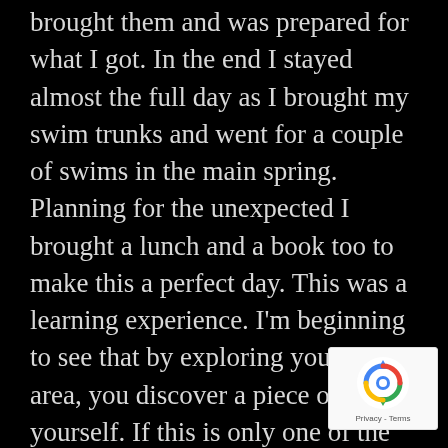brought them and was prepared for what I got. In the end I stayed almost the full day as I brought my swim trunks and went for a couple of swims in the main spring. Planning for the unexpected I brought a lunch and a book too to make this a perfect day. This was a learning experience. I'm beginning to see that by exploring your local area, you discover a piece of yourself. If this is only one of the MANY springs in the area, then I cannot wait to get out and explore them all.
[Figure (logo): Google reCAPTCHA badge with recycling-style arrows logo and Privacy - Terms text]